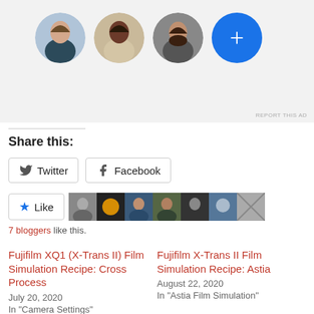[Figure (photo): Ad banner with three circular avatar photos and a blue circle with a plus sign]
REPORT THIS AD
Share this:
Twitter  Facebook
[Figure (photo): Like button followed by 7 small blogger avatar thumbnails]
7 bloggers like this.
Fujifilm XQ1 (X-Trans II) Film Simulation Recipe: Cross Process
July 20, 2020
In "Camera Settings"
Fujifilm X-Trans II Film Simulation Recipe: Astia
August 22, 2020
In "Astia Film Simulation"
Fujifilm XQ1 (X-Trans II) Film Simulation